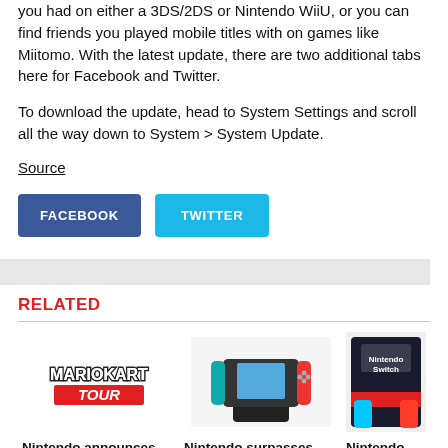you had on either a 3DS/2DS or Nintendo WiiU, or you can find friends you played mobile titles with on games like Miitomo. With the latest update, there are two additional tabs here for Facebook and Twitter.
To download the update, head to System Settings and scroll all the way down to System > System Update.
Source
FACEBOOK
TWITTER
RELATED
Nintendo announces
Nintendo surpasses
Nintendo